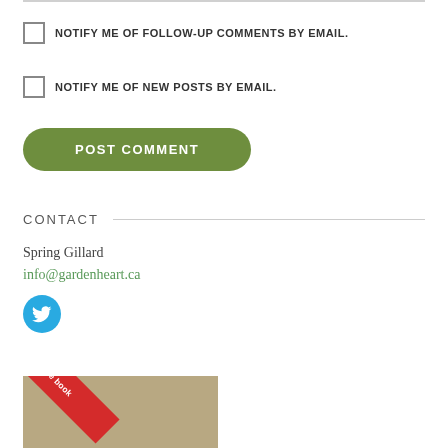NOTIFY ME OF FOLLOW-UP COMMENTS BY EMAIL.
NOTIFY ME OF NEW POSTS BY EMAIL.
POST COMMENT
CONTACT
Spring Gillard
info@gardenheart.ca
[Figure (logo): Twitter bird icon, cyan/blue circle]
[Figure (photo): Book cover image with red diagonal ribbon banner reading 'buy the book']